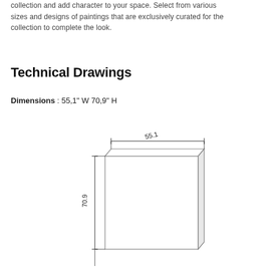collection and add character to your space. Select from various sizes and designs of paintings that are exclusively curated for the collection to complete the look.
Technical Drawings
Dimensions : 55.1" W  70.9" H
[Figure (engineering-diagram): Isometric technical drawing of a rectangular panel/painting with width dimension 55.1 and height dimension 70.9 labeled with dimension lines.]